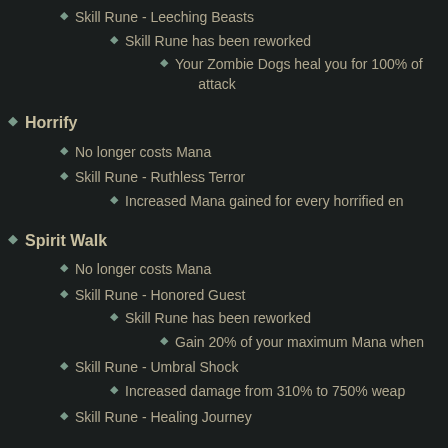Skill Rune - Leeching Beasts
Skill Rune has been reworked
Your Zombie Dogs heal you for 100% of attack
Horrify
No longer costs Mana
Skill Rune - Ruthless Terror
Increased Mana gained for every horrified en…
Spirit Walk
No longer costs Mana
Skill Rune - Honored Guest
Skill Rune has been reworked
Gain 20% of your maximum Mana when…
Skill Rune - Umbral Shock
Increased damage from 310% to 750% weap…
Skill Rune - Healing Journey